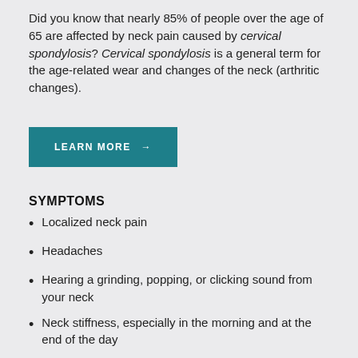Did you know that nearly 85% of people over the age of 65 are affected by neck pain caused by cervical spondylosis? Cervical spondylosis is a general term for the age-related wear and changes of the neck (arthritic changes).
LEARN MORE →
SYMPTOMS
Localized neck pain
Headaches
Hearing a grinding, popping, or clicking sound from your neck
Neck stiffness, especially in the morning and at the end of the day